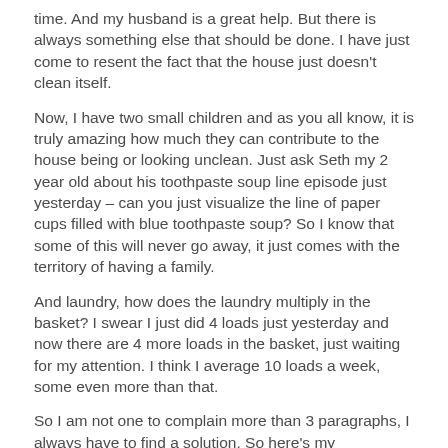time.  And my husband is a great help.  But there is always something else that should be done.  I have just come to resent the fact that the house just doesn't clean itself.
Now, I have two small children and as you all know, it is truly amazing how much they can contribute to the house being or looking unclean.  Just ask Seth my 2 year old about his toothpaste soup line episode just yesterday – can you just visualize the line of paper cups filled with blue toothpaste soup?  So I know that some of this will never go away, it just comes with the territory of having a family.
And laundry, how does the laundry multiply in the basket?  I swear I just did 4 loads just yesterday and now there are 4 more loads in the basket, just waiting for my attention.  I think I average 10 loads a week, some even more than that.
So I am not one to complain more than 3 paragraphs, I always have to find a solution.  So here's my suggestion.  I have gathered some cool suggestions to help me with my ever expanding cleaning duties.  Most of these suggestions came from a friend of mine who owns her own cleaning service and she's gathered/discovered over the past 30 years.  As I have implemented them, I have found they really do work. (Caveat –